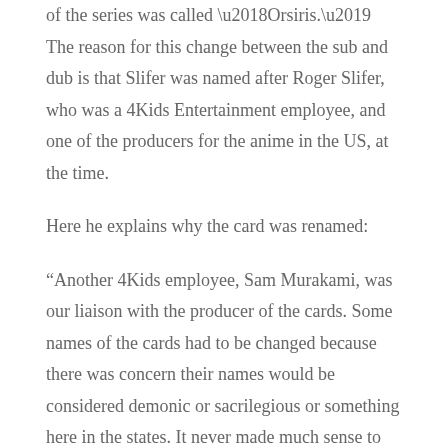of the series was called ‘Orsiris.’ The reason for this change between the sub and dub is that Slifer was named after Roger Slifer, who was a 4Kids Entertainment employee, and one of the producers for the anime in the US, at the time.
Here he explains why the card was renamed:
“Another 4Kids employee, Sam Murakami, was our liaison with the producer of the cards. Some names of the cards had to be changed because there was concern their names would be considered demonic or sacrilegious or something here in the states. It never made much sense to me, but when you’re broadcasting here in America, it’s something that has to be accommodated. Anyway, Sam renamed a bunch